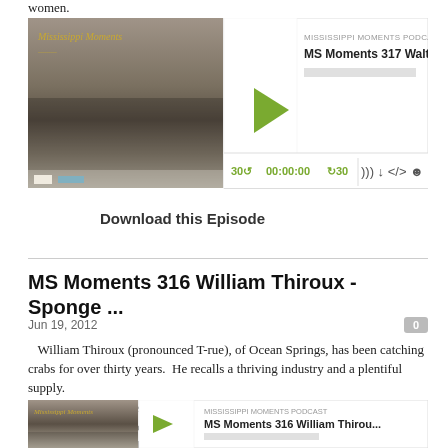women.
[Figure (screenshot): Podcast player for MS Moments 317 Walter Ross episode showing album art, play button, timestamp 00:00:00, and controls]
Download this Episode
MS Moments 316 William Thiroux - Sponge ...
Jun 19, 2012
William Thiroux (pronounced T-rue), of Ocean Springs, has been catching crabs for over thirty years.  He recalls a thriving industry and a plentiful supply.
   In an effort to protect the crab population, Mississippi made it illegal to catch female sponge crabs, a move Thiroux says has decimated the state's crab industry. He feels that by allowing the harvest of only male crabs, the law has had a negative impact on the crab population.
[Figure (screenshot): Podcast player for MS Moments 316 William Thiroux episode showing album art and play button]